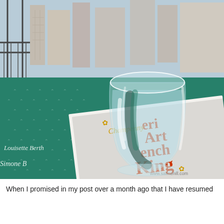[Figure (photo): A photo of a stemless wine glass filled with water sitting on a teal/green patterned tablecloth. Underneath the glass is a white paper/napkin with partial text visible including 'eri', 'Art', 'ench', 'King' in red and gold italic script text. In the background is a city skyline viewed through a window with metal railings. On the left side of the tablecloth, white italic text reads 'Louisette Berth' and 'Simone B'. A watermark reads 'www.salmehill.com'.]
When I promised in my post over a month ago that I have resumed